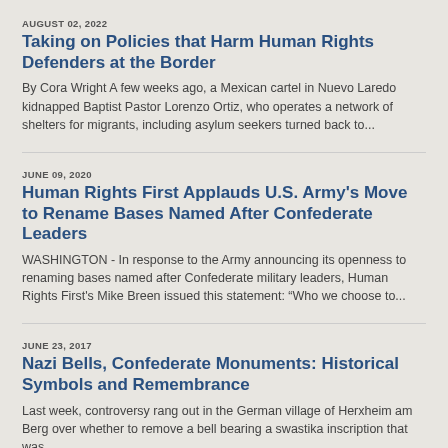AUGUST 02, 2022
Taking on Policies that Harm Human Rights Defenders at the Border
By Cora Wright A few weeks ago, a Mexican cartel in Nuevo Laredo kidnapped Baptist Pastor Lorenzo Ortiz, who operates a network of shelters for migrants, including asylum seekers turned back to...
JUNE 09, 2020
Human Rights First Applauds U.S. Army's Move to Rename Bases Named After Confederate Leaders
WASHINGTON - In response to the Army announcing its openness to renaming bases named after Confederate military leaders, Human Rights First's Mike Breen issued this statement: “Who we choose to...
JUNE 23, 2017
Nazi Bells, Confederate Monuments: Historical Symbols and Remembrance
Last week, controversy rang out in the German village of Herxheim am Berg over whether to remove a bell bearing a swastika inscription that was...